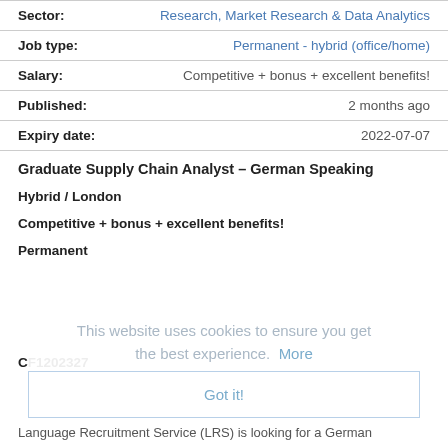| Field | Value |
| --- | --- |
| Sector: | Research, Market Research & Data Analytics |
| Job type: | Permanent - hybrid (office/home) |
| Salary: | Competitive + bonus + excellent benefits! |
| Published: | 2 months ago |
| Expiry date: | 2022-07-07 |
Graduate Supply Chain Analyst – German Speaking
Hybrid / London
Competitive + bonus + excellent benefits!
Permanent
This website uses cookies to ensure you get the best experience.  More
Got it!
CF1202327
Language Recruitment Service (LRS) is looking for a German